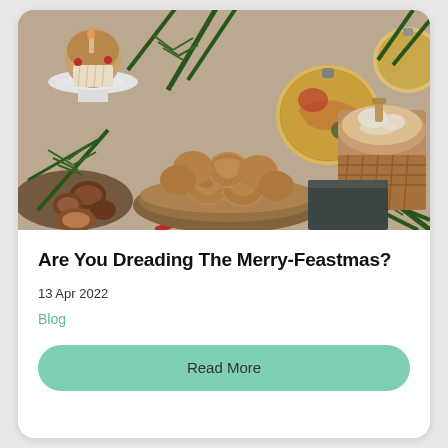[Figure (photo): Christmas food spread with walnuts in a bowl, chestnuts, decorative Christmas ornament balls, pine branches, a muffin/cupcake on a cake stand, and a powdered sugar-dusted panettone/bread loaf in a basket on a light gray background.]
Are You Dreading The Merry-Feastmas?
13 Apr 2022
Blog
Read More